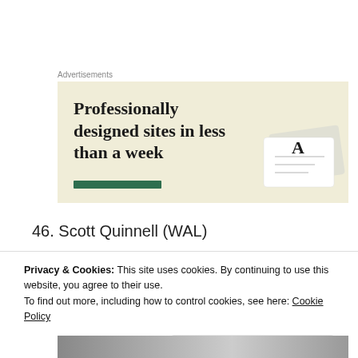Advertisements
[Figure (illustration): Advertisement banner with beige/cream background showing text 'Professionally designed sites in less than a week' in bold serif font, a dark green horizontal bar, and a white card with letter A graphic on the right side.]
46. Scott Quinnell (WAL)
Privacy & Cookies: This site uses cookies. By continuing to use this website, you agree to their use.
To find out more, including how to control cookies, see here: Cookie Policy
Close and accept